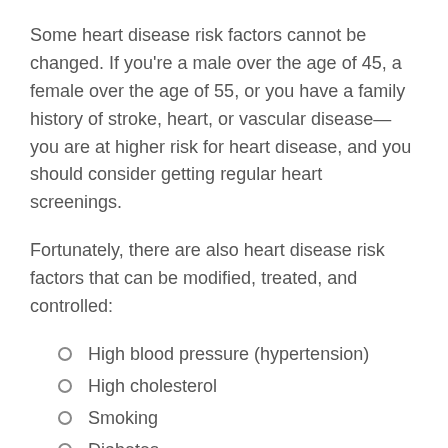Some heart disease risk factors cannot be changed. If you're a male over the age of 45, a female over the age of 55, or you have a family history of stroke, heart, or vascular disease—you are at higher risk for heart disease, and you should consider getting regular heart screenings.
Fortunately, there are also heart disease risk factors that can be modified, treated, and controlled:
High blood pressure (hypertension)
High cholesterol
Smoking
Diabetes
Sedentary lifestyle
Stress
Alcohol
Diet and nutrition